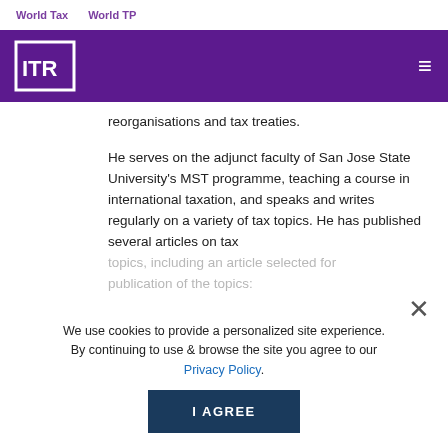World Tax   World TP
[Figure (logo): ITR logo in white on purple navigation bar with hamburger menu icon]
reorganisations and tax treaties.
He serves on the adjunct faculty of San Jose State University's MST programme, teaching a course in international taxation, and speaks and writes regularly on a variety of tax topics. He has published several articles on tax topics, including an article selected for publication of the topics:
PLI's Corporate Tax Practice Series on tax issues in contingent value rights (CVRs) transactions
We use cookies to provide a personalized site experience. By continuing to use & browse the site you agree to our Privacy Policy.
I AGREE
Skinner graduated with a JD, with distinction,